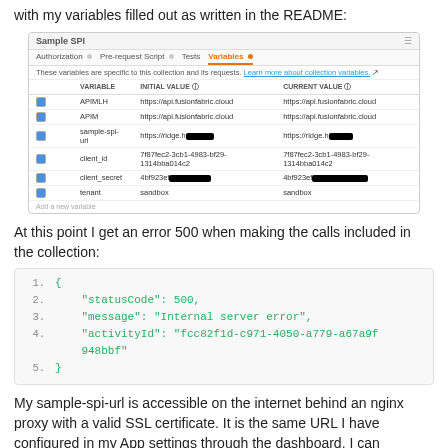with my variables filled out as written in the README:
[Figure (screenshot): Postman Sample SPI collection variables screenshot showing VARIABLE, INITIAL VALUE, and CURRENT VALUE columns with entries for APIMLH, APIM, sample-spi-url (redacted), client_id, client_secret (redacted), and tenant fields.]
At this point I get an error 500 when making the calls included in the collection:
1.  {
2.      "statusCode": 500,
3.      "message": "Internal server error",
4.      "activityId": "fcc82f1d-c971-4050-a779-a67a9f948bbf"
5.  }
My sample-spi-url is accessible on the internet behind an nginx proxy with a valid SSL certificate. It is the same URL I have configured in my App settings through the dashboard. I can navigate in my